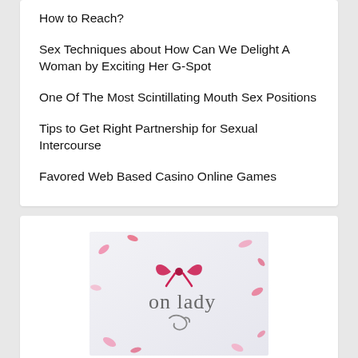How to Reach?
Sex Techniques about How Can We Delight A Woman by Exciting Her G-Spot
One Of The Most Scintillating Mouth Sex Positions
Tips to Get Right Partnership for Sexual Intercourse
Favored Web Based Casino Online Games
[Figure (logo): onlady website logo with pink bow and script text on gradient background with pink flower petals]